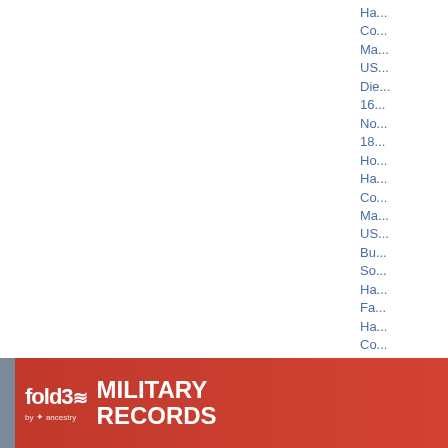Ha...
Co...
Ma...
US...
Die...
16...
No...
18...
Ho...
Ha...
Co...
Ma...
US...
Bu...
So...
Ha...
Fa...
Ha...
Co...
Ma...
US...
Pr...
Blo...
Ce...
6.
Jo...
S...
Bo...
12...
[Figure (infographic): Fold3 Military Records advertisement banner by Ancestry. Red background with white text reading MILITARY RECORDS, a Search Now button, and a photo of a soldier.]